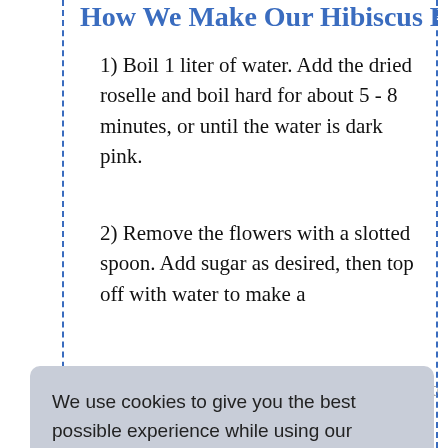How We Make Our Hibiscus Flower Drink:
1) Boil 1 liter of water. Add the dried roselle and boil hard for about 5 - 8 minutes, or until the water is dark pink.
2) Remove the flowers with a slotted spoon. Add sugar as desired, then top off with water to make a total volume of 2 liters of drink. Allow to cool, the
We use cookies to give you the best possible experience while using our website. By continuing you agree to accept them, and understand that you can control our use of cookies by changing your web browser settings. Please visit our privacy policy page for details.
Learn more
Got it!